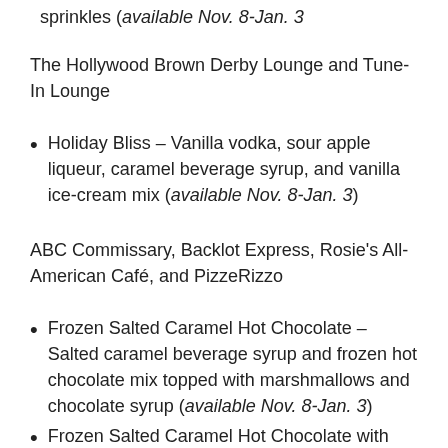sprinkles (available Nov. 8-Jan. 3
The Hollywood Brown Derby Lounge and Tune-In Lounge
Holiday Bliss – Vanilla vodka, sour apple liqueur, caramel beverage syrup, and vanilla ice-cream mix (available Nov. 8-Jan. 3)
ABC Commissary, Backlot Express, Rosie's All-American Café, and PizzeRizzo
Frozen Salted Caramel Hot Chocolate – Salted caramel beverage syrup and frozen hot chocolate mix topped with marshmallows and chocolate syrup (available Nov. 8-Jan. 3)
Frozen Salted Caramel Hot Chocolate with Black Cherry Bourbon – Salted caramel beverage syrup,